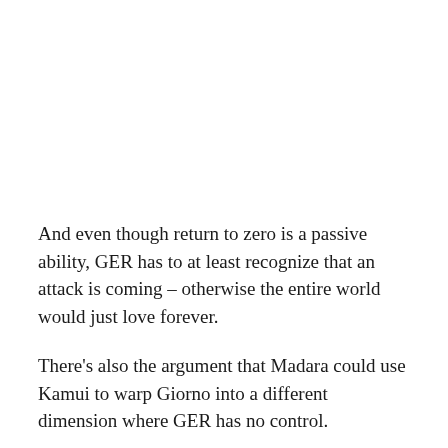And even though return to zero is a passive ability, GER has to at least recognize that an attack is coming – otherwise the entire world would just love forever.
There's also the argument that Madara could use Kamui to warp Giorno into a different dimension where GER has no control.
You could also make an point that Infinite Tsukuyomi is...